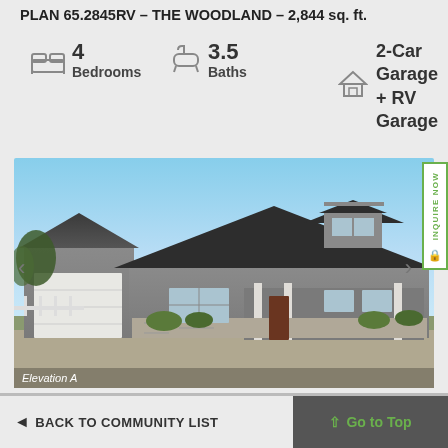PLAN 65.2845RV – THE WOODLAND – 2,844 sq. ft.
4 Bedrooms
3.5 Baths
2-Car Garage + RV Garage
[Figure (photo): Exterior rendering of a craftsman-style single-story home with dark roof, gray siding, white garage door, stone accents, and front porch. Blue sky background. Labeled 'Elevation A'.]
BACK TO COMMUNITY LIST
Go to Top